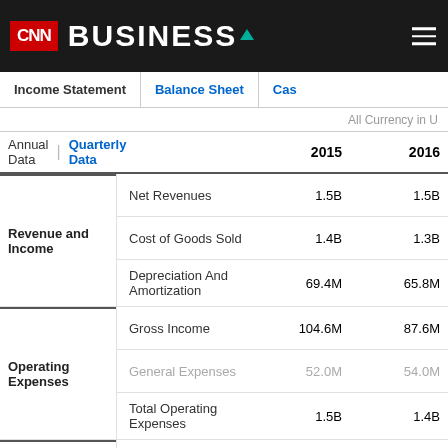CNN BUSINESS
Income Statement | Balance Sheet | Cas...
All Currency in U...
Annual Data | Quarterly Data   2015   2016
|  |  | 2015 | 2016 |
| --- | --- | --- | --- |
| Revenue and Income | Net Revenues | 1.5B | 1.5B |
|  | Cost of Goods Sold | 1.4B | 1.3B |
|  | Depreciation And Amortization | 69.4M | 65.8M |
| Operating Expenses | Gross Income | 104.6M | 87.6M |
|  | General Expenses | 52.0M | 54.0M |
|  | Total Operating Expenses | 1.5B | 1.4B |
| Non-Operating Expenses | Operating Income | 52.6M | 33.6M |
|  | Extraordinary Charge | 0.00 | 0.00 |